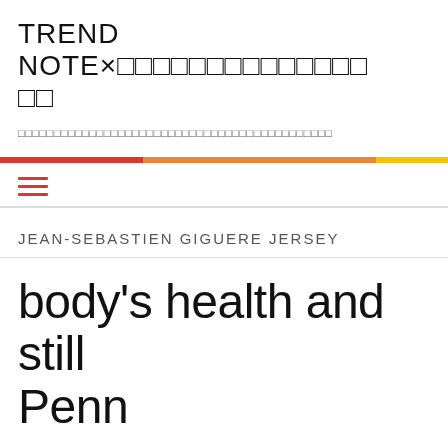TREND NOTE×トレンドノートまとめ
最新のファッションやコスメ、生活雑貨などのトレンド情報をまとめたサイト
JEAN-SEBASTIEN GIGUERE JERSEY
body's health and still Penn